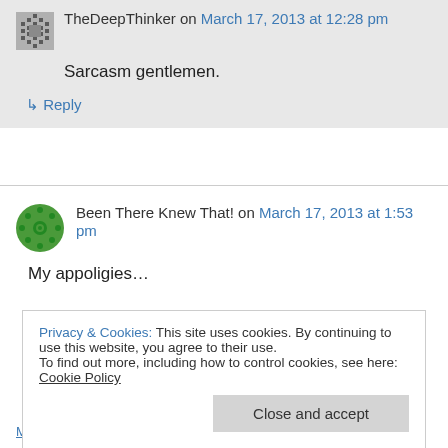TheDeepThinker on March 17, 2013 at 12:28 pm
Sarcasm gentlemen.
↳ Reply
Been There Knew That! on March 17, 2013 at 1:53 pm
My appoligies…
Privacy & Cookies: This site uses cookies. By continuing to use this website, you agree to their use. To find out more, including how to control cookies, see here: Cookie Policy
Close and accept